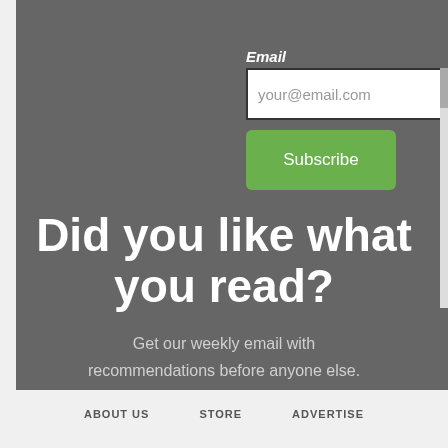Email
your@email.com
Subscribe
Did you like what you read?
Get our weekly email with recommendations before anyone else.
ABOUT US   STORE   ADVERTISE